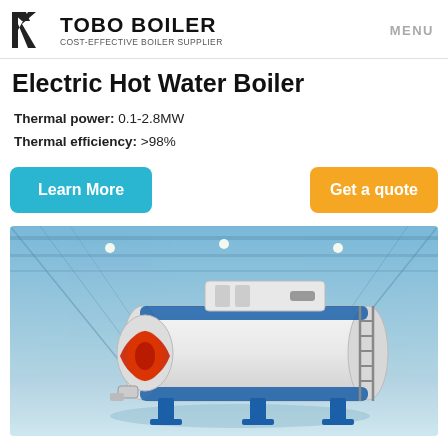TOBO BOILER — COST-EFFECTIVE BOILER SUPPLIER | MENU
Electric Hot Water Boiler
Thermal power: 0.1-2.8MW
Thermal efficiency: >98%
Learn More
Get a quote
[Figure (photo): Industrial electric hot water boiler (white and blue cylindrical vessel) displayed inside a large industrial warehouse with blue-tinted steel structure ceiling and reflective floor.]